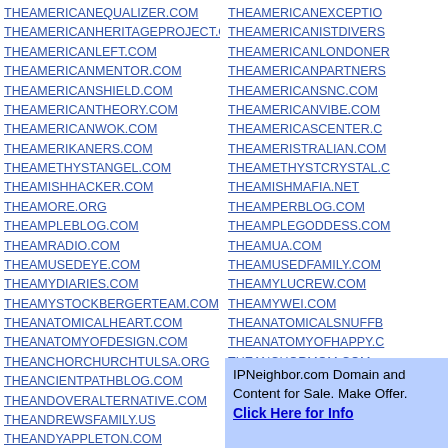THEAMERICANEQUALIZER.COM
THEAMERICANHERITAGEPROJECT.ORG
THEAMERICANLEFT.COM
THEAMERICANMENTOR.COM
THEAMERICANSHIELD.COM
THEAMERICANTHEORY.COM
THEAMERICANWOK.COM
THEAMERIKANERS.COM
THEAMETHYSTANGEL.COM
THEAMISHHACKER.COM
THEAMORE.ORG
THEAMPLEBLOG.COM
THEAMRADIO.COM
THEAMUSEDEYE.COM
THEAMYDIARIES.COM
THEAMYSTOCKBERGERTEAM.COM
THEANATOMICALHEART.COM
THEANATOMYOFDESIGN.COM
THEANCHORCHURCHTULSA.ORG
THEANCIENTPATHBLOG.COM
THEANDOVERALTERNATIVE.COM
THEANDREWSFAMILY.US
THEANDYAPPLETON.COM
THEANESTHESIACONSULTANT.COM
THEANGELOPINION.COM
THEANGELWING.COM
THEANGIELALAEXPERIENCE.COM
THEANGRYALCHEMIST.COM
THEAMERICANEXCEPTION...
THEAMERICANISTDIVERS...
THEAMERICANLONDONER...
THEAMERICANPARTNERS...
THEAMERICANSNC.COM
THEAMERICANVIBE.COM
THEAMERICASCENTER.C...
THEAMERISTRALIAN.COM
THEAMETHYSTCRYSTAL.C...
THEAMISHMAFIA.NET
THEAMPERBLOG.COM
THEAMPLEGODDESS.COM
THEAMUA.COM
THEAMUSEDFAMILY.COM
THEAMYLUCREW.COM
THEAMYWEI.COM
THEANATOMICALSNUFFB...
THEANATOMYOFHAPPY.C...
THEANCHORMOM.COM
THEANCIENTPATHS.ORG
THEANDREAS.COM
THEANDREWSHAVER.COM
THEANDYCOLE.COM
THEANFIELDWAY.COM
[Figure (other): Blue advertisement box: IPNeighbor.com Domain and Content for Sale. Make Offer. Click Here for Info]